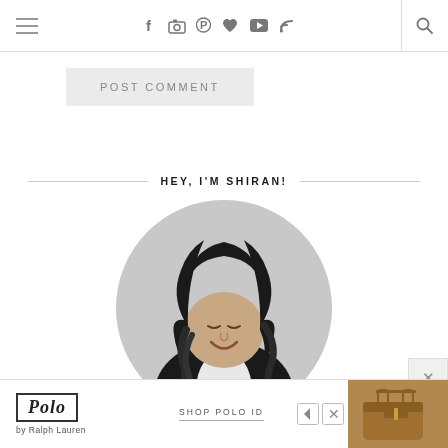Navigation bar with menu icon, social icons (f, instagram, pinterest, heart, youtube, rss), and search icon
POST COMMENT
HEY, I'M SHIRAN!
[Figure (photo): Circular portrait photo of a smiling woman with long dark wavy hair wearing a black cardigan over a white top, photographed against a light grey background.]
[Figure (infographic): Advertisement banner for Polo by Ralph Lauren with logo box, 'SHOP POLO ID' text, and a product photo of a brown leather bag on the right side.]